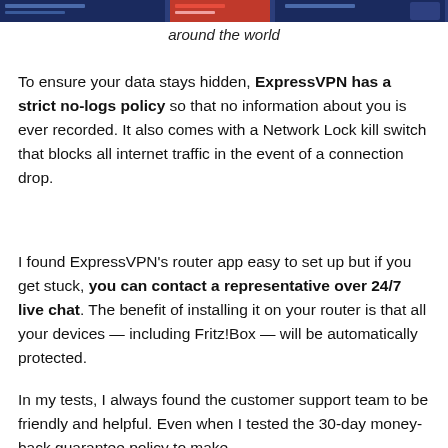[Figure (screenshot): Partial screenshot of ExpressVPN app showing server locations around the world]
around the world
To ensure your data stays hidden, ExpressVPN has a strict no-logs policy so that no information about you is ever recorded. It also comes with a Network Lock kill switch that blocks all internet traffic in the event of a connection drop.
I found ExpressVPN's router app easy to set up but if you get stuck, you can contact a representative over 24/7 live chat. The benefit of installing it on your router is that all your devices — including Fritz!Box — will be automatically protected.
In my tests, I always found the customer support team to be friendly and helpful. Even when I tested the 30-day money-back guarantee policy to make